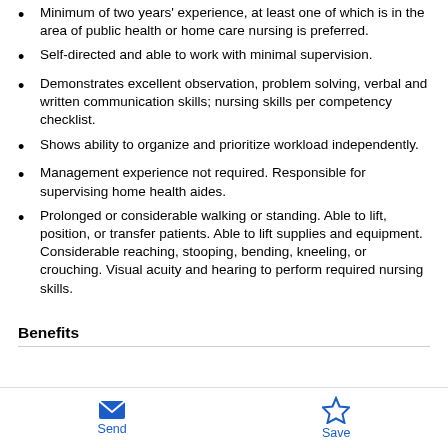Minimum of two years' experience, at least one of which is in the area of public health or home care nursing is preferred.
Self-directed and able to work with minimal supervision.
Demonstrates excellent observation, problem solving, verbal and written communication skills; nursing skills per competency checklist.
Shows ability to organize and prioritize workload independently.
Management experience not required. Responsible for supervising home health aides.
Prolonged or considerable walking or standing. Able to lift, position, or transfer patients. Able to lift supplies and equipment. Considerable reaching, stooping, bending, kneeling, or crouching. Visual acuity and hearing to perform required nursing skills.
Benefits